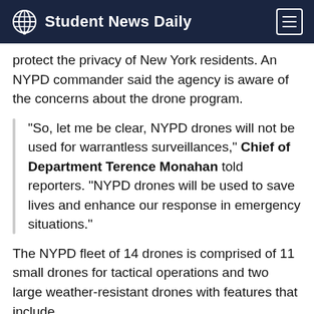Student News Daily
protect the privacy of New York residents. An NYPD commander said the agency is aware of the concerns about the drone program.
“So, let me be clear, NYPD drones will not be used for warrantless surveillances,” Chief of Department Terence Monahan told reporters. “NYPD drones will be used to save lives and enhance our response in emergency situations.”
The NYPD fleet of 14 drones is comprised of 11 small drones for tactical operations and two large weather-resistant drones with features that include